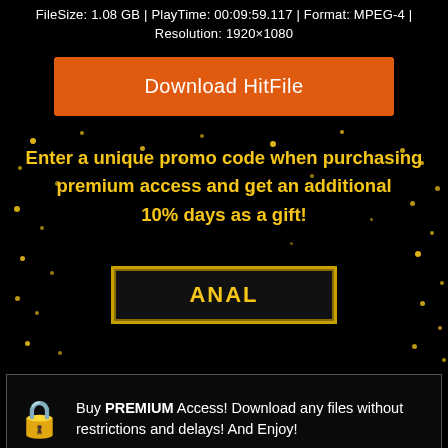FileSize: 1.08 GB | PlayTime: 00:09:59.117 | Format: MPEG-4 | Resolution: 1920×1080
Download HitFile
Enter a unique promo code when purchasing premium access and get an additional 10% days as a gift!
ANAL
Buy PREMIUM Access! Download any files without restrictions and delays! And Enjoy!
RELATED VIDEOS